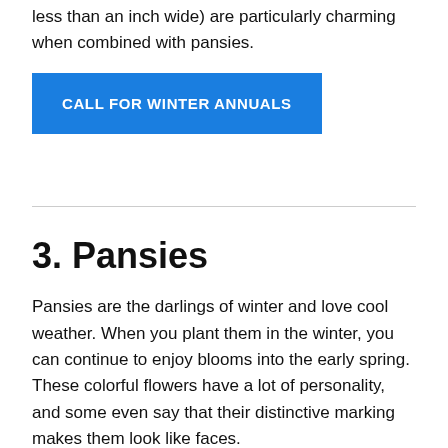less than an inch wide) are particularly charming when combined with pansies.
CALL FOR WINTER ANNUALS
3. Pansies
Pansies are the darlings of winter and love cool weather. When you plant them in the winter, you can continue to enjoy blooms into the early spring. These colorful flowers have a lot of personality, and some even say that their distinctive marking makes them look like faces.
Many are multicolored, and colors range from pinks, reds, and purples to yellow and orange. They don't